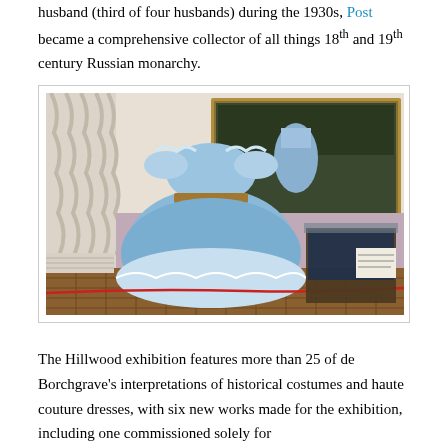husband (third of four husbands) during the 1930s, Post became a comprehensive collector of all things 18th and 19th century Russian monarchy.
[Figure (photo): A blue ruffled off-shoulder dress displayed on a mannequin in an ornate room, with a painting on the wall behind, parquet flooring, and a display case to the right. A red rope barrier is visible in the foreground.]
The Hillwood exhibition features more than 25 of de Borchgrave’s interpretations of historical costumes and haute couture dresses, with six new works made for the exhibition, including one commissioned solely for